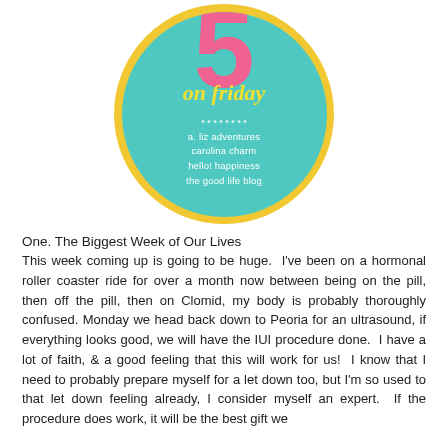[Figure (logo): 5 on Friday circular logo with teal background, yellow border, pink number 5, yellow cursive 'on friday' text, and white blog names: a. liz adventures, carolina charm, hello! happiness, the good life blog]
One. The Biggest Week of Our Lives
This week coming up is going to be huge.  I've been on a hormonal roller coaster ride for over a month now between being on the pill, then off the pill, then on Clomid, my body is probably thoroughly confused. Monday we head back down to Peoria for an ultrasound, if everything looks good, we will have the IUI procedure done.  I have a lot of faith, & a good feeling that this will work for us!  I know that I need to probably prepare myself for a let down too, but I'm so used to that let down feeling already, I consider myself an expert.  If the procedure does work, it will be the best gift we